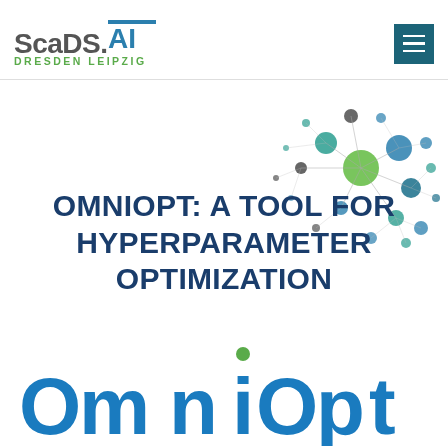ScaDS.AI DRESDEN LEIPZIG
[Figure (illustration): Network graph illustration showing interconnected nodes of varying sizes in green, teal, blue, and dark colors with lines connecting them, representing a data science or AI network visualization.]
OMNIOPT: A TOOL FOR HYPERPARAMETER OPTIMIZATION
[Figure (logo): OmniOpt logo in large bold blue letters with a green dot above the letter i]